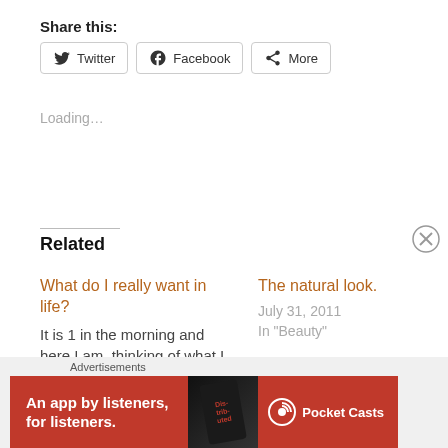Share this:
Twitter  Facebook  More
Loading...
Related
What do I really want in life?
It is 1 in the morning and here I am, thinking of what I really want in life. It's been 4 months since
August 9, 2011
The natural look.
July 31, 2011
In "Beauty"
Advertisements
[Figure (other): Pocket Casts advertisement banner with red background, text 'An app by listeners, for listeners.' and Pocket Casts logo with a phone image showing 'Distributed']